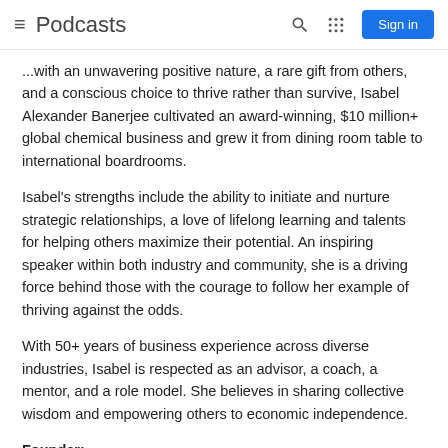Podcasts | Sign in
...with an unwavering positive nature, a rare gift from others, and a conscious choice to thrive rather than survive, Isabel Alexander Banerjee cultivated an award-winning, $10 million+ global chemical business and grew it from dining room table to international boardrooms.
Isabel's strengths include the ability to initiate and nurture strategic relationships, a love of lifelong learning and talents for helping others maximize their potential. An inspiring speaker within both industry and community, she is a driving force behind those with the courage to follow her example of thriving against the odds.
With 50+ years of business experience across diverse industries, Isabel is respected as an advisor, a coach, a mentor, and a role model. She believes in sharing collective wisdom and empowering others to economic independence.
Founder:
Lift As You Climb Movement
(www.facebook.com/groups/liftasyouclimbmovement)